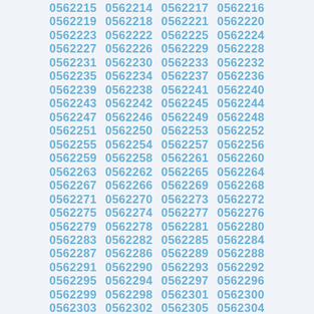0562215 0562214 0562217 0562216
0562219 0562218 0562221 0562220
0562223 0562222 0562225 0562224
0562227 0562226 0562229 0562228
0562231 0562230 0562233 0562232
0562235 0562234 0562237 0562236
0562239 0562238 0562241 0562240
0562243 0562242 0562245 0562244
0562247 0562246 0562249 0562248
0562251 0562250 0562253 0562252
0562255 0562254 0562257 0562256
0562259 0562258 0562261 0562260
0562263 0562262 0562265 0562264
0562267 0562266 0562269 0562268
0562271 0562270 0562273 0562272
0562275 0562274 0562277 0562276
0562279 0562278 0562281 0562280
0562283 0562282 0562285 0562284
0562287 0562286 0562289 0562288
0562291 0562290 0562293 0562292
0562295 0562294 0562297 0562296
0562299 0562298 0562301 0562300
0562303 0562302 0562305 0562304
0562307 0562306 0562309 0562308
0562311 0562310 0562313 0562312
0562315 0562314 0562317 0562316
0562319 0562318 0562321 0562320
0562323 0562322 0562325 0562324
0562327 0562326 0562329 0562328